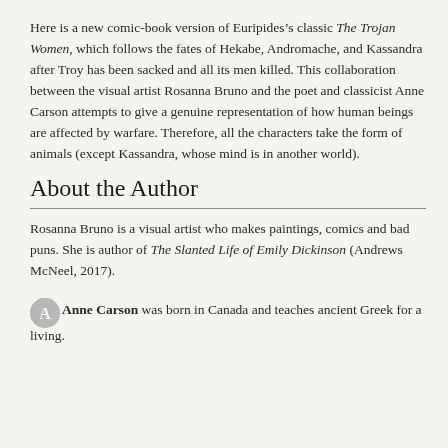Here is a new comic-book version of Euripides’s classic The Trojan Women, which follows the fates of Hekabe, Andromache, and Kassandra after Troy has been sacked and all its men killed. This collaboration between the visual artist Rosanna Bruno and the poet and classicist Anne Carson attempts to give a genuine representation of how human beings are affected by warfare. Therefore, all the characters take the form of animals (except Kassandra, whose mind is in another world).
About the Author
Rosanna Bruno is a visual artist who makes paintings, comics and bad puns. She is author of The Slanted Life of Emily Dickinson (Andrews McNeel, 2017).
Anne Carson was born in Canada and teaches ancient Greek for a living.